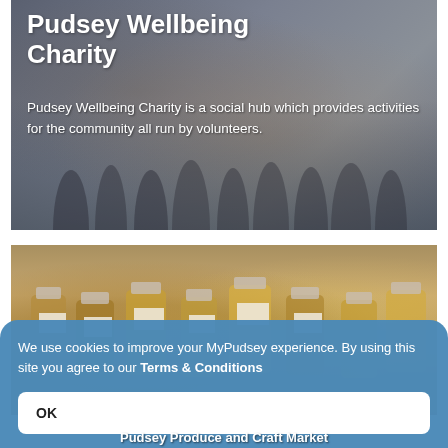[Figure (photo): Group photo of people standing outside a building, used as hero image for Pudsey Wellbeing Charity]
Pudsey Wellbeing Charity
Pudsey Wellbeing Charity is a social hub which provides activities for the community all run by volunteers.
[Figure (photo): Close-up photo of jars of produce/jam at a market stall]
We use cookies to improve your MyPudsey experience. By using this site you agree to our Terms & Conditions
OK
Pudsey Produce and Craft Market